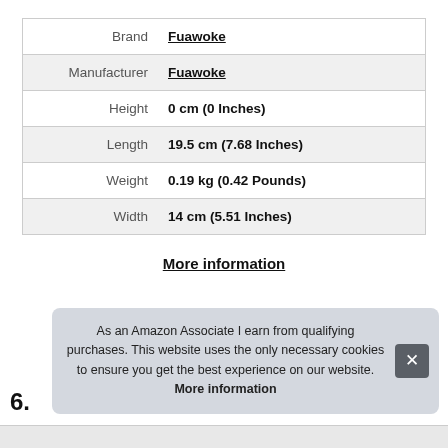|  |  |
| --- | --- |
| Brand | Fuawoke |
| Manufacturer | Fuawoke |
| Height | 0 cm (0 Inches) |
| Length | 19.5 cm (7.68 Inches) |
| Weight | 0.19 kg (0.42 Pounds) |
| Width | 14 cm (5.51 Inches) |
More information
As an Amazon Associate I earn from qualifying purchases. This website uses the only necessary cookies to ensure you get the best experience on our website. More information